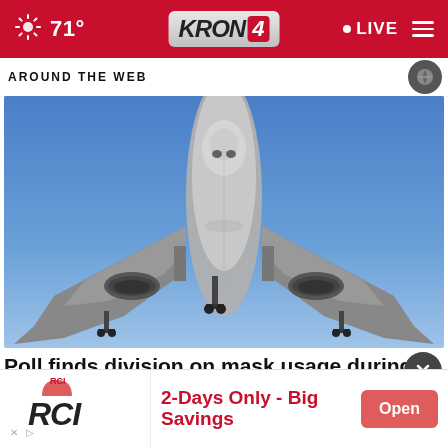71° KRON4 LIVE
AROUND THE WEB
[Figure (photo): Commercial airplane viewed from below against a blue sky, approaching or departing, landing gear visible]
Poll finds division on mask usage during flights
[Figure (photo): Partial view of another article image at bottom of screen]
RCI 2-Days Only - Big Savings Open